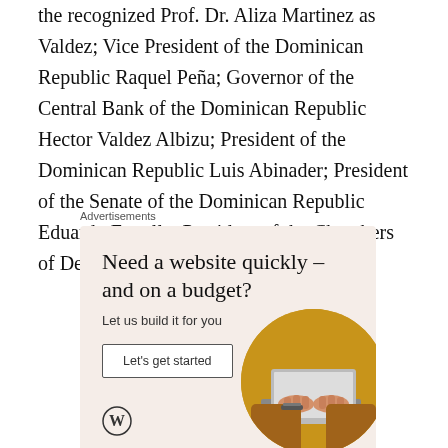the recognized Prof. Dr. Aliza Martinez as Valdez; Vice President of the Dominican Republic Raquel Peña; Governor of the Central Bank of the Dominican Republic Hector Valdez Albizu; President of the Dominican Republic Luis Abinader; President of the Senate of the Dominican Republic Eduardo Estrella; President of the Chambers of Deputies Alfredo Pacheco.
Advertisements
[Figure (infographic): Advertisement for WordPress website building service. Beige/salmon background with headline 'Need a website quickly – and on a budget?', subtext 'Let us build it for you', a 'Let's get started' button, WordPress logo, and a circular photo of hands typing on a laptop.]